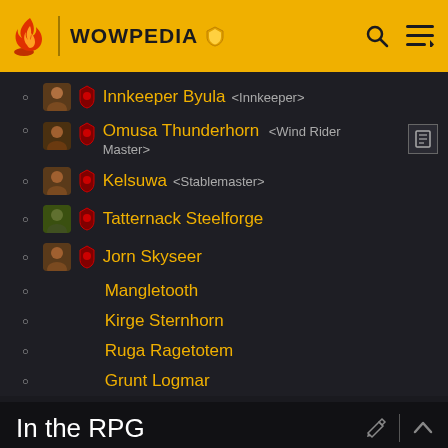WOWPEDIA
Innkeeper Byula <Innkeeper>
Omusa Thunderhorn <Wind Rider Master>
Kelsuwa <Stablemaster>
Tatternack Steelforge
Jorn Skyseer
Mangletooth
Kirge Sternhorn
Ruga Ragetotem
Grunt Logmar
In the RPG
This section contains information from the